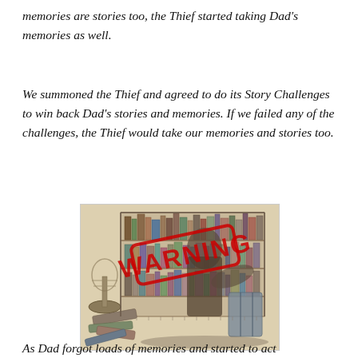memories are stories too, the Thief started taking Dad's memories as well.
We summoned the Thief and agreed to do its Story Challenges to win back Dad's stories and memories. If we failed any of the challenges, the Thief would take our memories and stories too.
[Figure (illustration): A pen-and-ink style drawing of a figure among bookshelves and stacked books, with a red WARNING stamp overlaid at an angle across the center of the image.]
As Dad forgot loads of memories and started to act